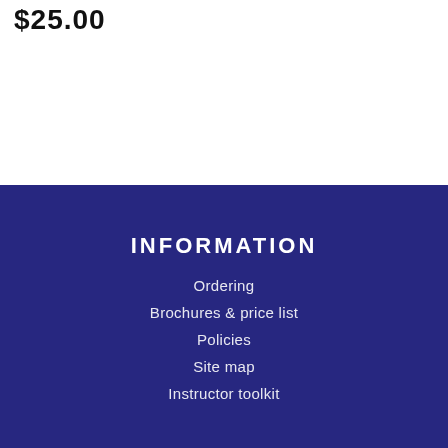$25.00
INFORMATION
Ordering
Brochures & price list
Policies
Site map
Instructor toolkit